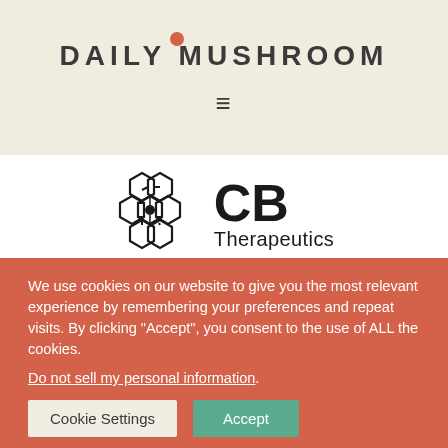[Figure (logo): Daily Mushroom website header logo with orange dot over the letter U, text reads DAILY MUSHROOM in dark gray uppercase letters on a beige/cream background]
[Figure (logo): CB Therapeutics logo with hexagonal molecular structure icon on the left and bold CB text with Therapeutics below on the right]
PRIVATE COMPANY
We use cookies on our website to give you the most relevant experience by remembering your preferences and repeat visits. By clicking "Accept", you consent to the use of ALL the cookies.
Do not sell my personal information.